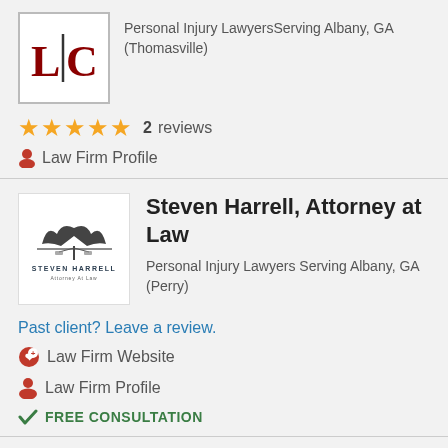[Figure (logo): LC law firm logo with red letters L and C separated by a vertical divider line]
Personal Injury LawyersServing Albany, GA (Thomasville)
★★★★★  2  reviews
🔴 Law Firm Profile
[Figure (logo): Steven Harrell Attorney at Law logo with eagle/scales of justice]
Steven Harrell, Attorney at Law
Personal Injury Lawyers Serving Albany, GA (Perry)
Past client? Leave a review.
Law Firm Website
Law Firm Profile
FREE CONSULTATION